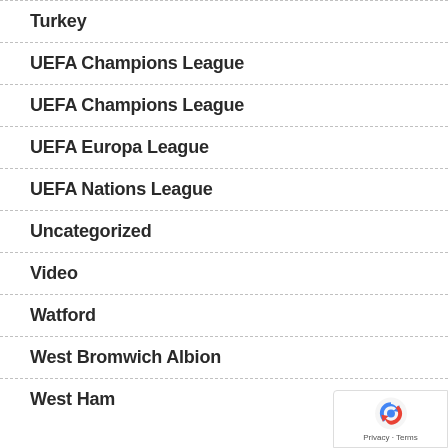Turkey
UEFA Champions League
UEFA Champions League
UEFA Europa League
UEFA Nations League
Uncategorized
Video
Watford
West Bromwich Albion
West Ham